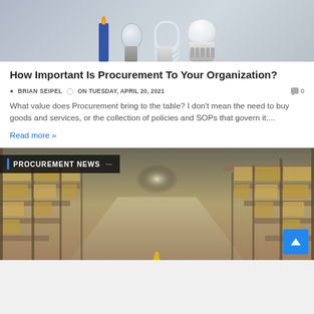[Figure (photo): Photograph showing four types of lighting from left to right: a blue candle with flame, a classic incandescent light bulb, a CFL spiral bulb, and a white LED bulb, against a grey background.]
How Important Is Procurement To Your Organization?
BRIAN SEIPEL   ON TUESDAY, APRIL 20, 2021   0
What value does Procurement bring to the table? I don't mean the need to buy goods and services, or the collection of policies and SOPs that govern it....
Read more »
[Figure (photo): Photograph of a large warehouse interior with tall shelving racks stacked with cardboard boxes on both sides, converging to a bright light at the end of an aisle. Text overlay reads PROCUREMENT NEWS.]